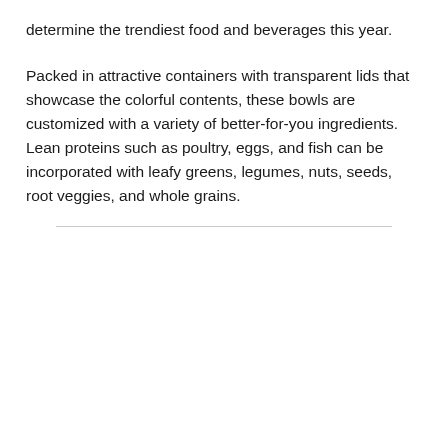determine the trendiest food and beverages this year.
Packed in attractive containers with transparent lids that showcase the colorful contents, these bowls are customized with a variety of better-for-you ingredients. Lean proteins such as poultry, eggs, and fish can be incorporated with leafy greens, legumes, nuts, seeds, root veggies, and whole grains.